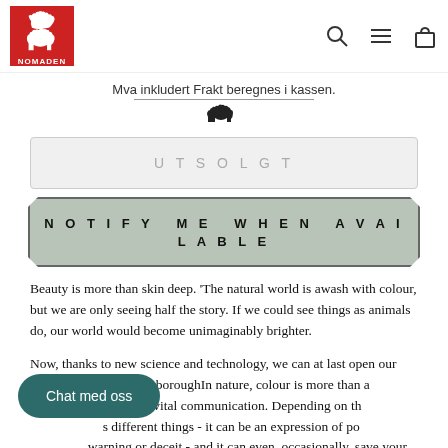NOMADEN
Mva inkludert Frakt beregnes i kassen.
UTSOLGT
NOTIFY ME WHEN AVAILABLE
Beauty is more than skin deep. 'The natural world is awash with colour, but we are only seeing half the story. If we could see things as animals do, our world would become unimaginably brighter.

Now, thanks to new science and technology, we can at last open our eyes.' - Sir David AttenboroughIn nature, colour is more than a source [form] of vital communication. Depending on the [species] different things - it can be an expression of power, [attraction,] warning or deceit - and it can even, occasionally, save your life. Accompanying a major new BBC series
Chat med oss